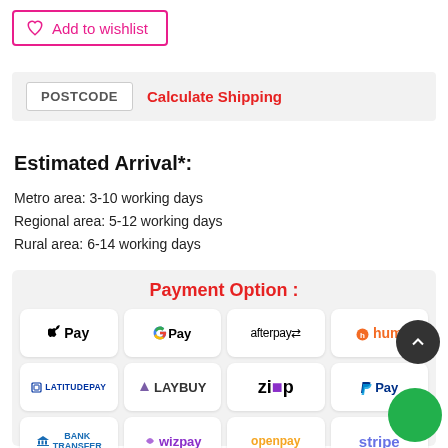Add to wishlist
POSTCODE  Calculate Shipping
Estimated Arrival*:
Metro area: 3-10 working days
Regional area: 5-12 working days
Rural area: 6-14 working days
Payment Option :
[Figure (screenshot): Payment options grid showing: Apple Pay, Google Pay, afterpay, hum, LatitudePay, Laybuy, Zip, PayPal Pay, Bank Transfer, wizpay, openpay, stripe]